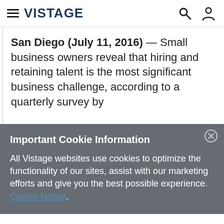VISTAGE
San Diego (July 11, 2016) — Small business owners reveal that hiring and retaining talent is the most significant business challenge, according to a quarterly survey by
Important Cookie Information
All Vistage websites use cookies to optimize the functionality of our sites, assist with our marketing efforts and give you the best possible experience. Cookie Notice.